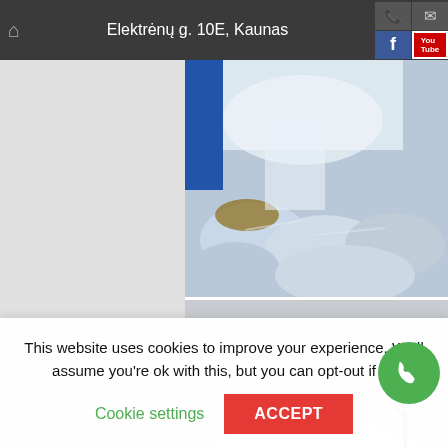Elektrėnų g. 10E, Kaunas
[Figure (photo): Snow and ice scene with water and blue/white snow chunks, outdoor winter image]
[Figure (photo): Winter outdoor scene showing rooftop covered in snow with bare trees against grey sky]
This website uses cookies to improve your experience. We'll assume you're ok with this, but you can opt-out if yo
Cookie settings
ACCEPT